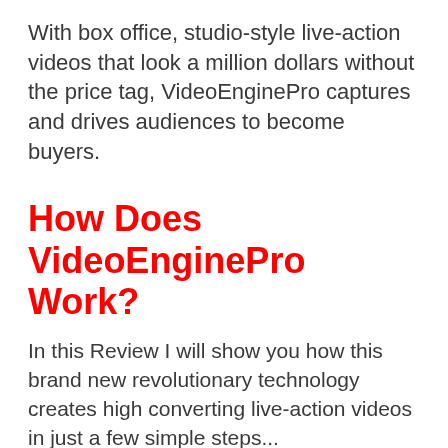With box office, studio-style live-action videos that look a million dollars without the price tag, VideoEnginePro captures and drives audiences to become buyers.
How Does VideoEnginePro Work?
In this Review I will show you how this brand new revolutionary technology creates high converting live-action videos in just a few simple steps...
Step #1 (Select):